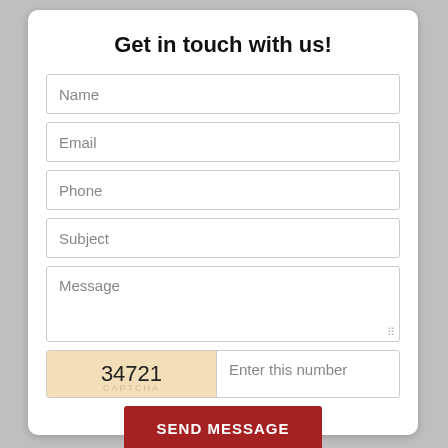Get in touch with us!
Name
Email
Phone
Subject
Message
34721  Enter this number
SEND MESSAGE